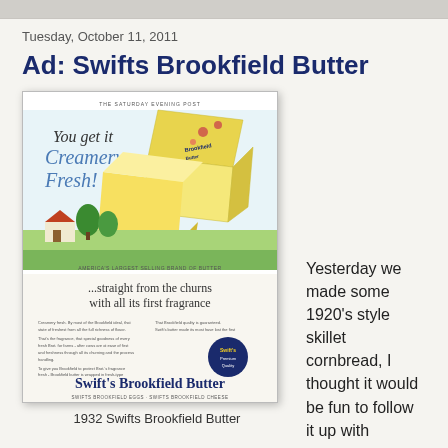Tuesday, October 11, 2011
Ad: Swifts Brookfield Butter
[Figure (illustration): 1932 vintage advertisement for Swift's Brookfield Butter from The Saturday Evening Post. Shows a stick of butter and butter box with floral design, text 'You get it Creamery Fresh!', a pastoral farmhouse scene, text '...straight from the churns with all its first fragrance', body copy text, and at bottom 'Swift's Brookfield Butter' in large script lettering with tagline 'SWIFTS BROOKFIELD EGGS - SWIFTS BROOKFIELD CHEESE'.]
1932 Swifts Brookfield Butter
Yesterday we made some 1920's style skillet cornbread, I thought it would be fun to follow it up with